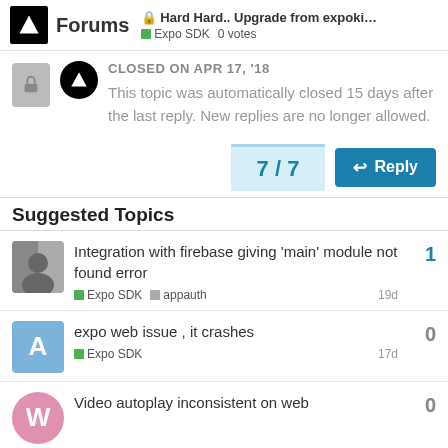Forums | 🔒 Hard Hard.. Upgrade from expokit a... | Expo SDK  0 votes
CLOSED ON APR 17, '18
This topic was automatically closed 15 days after the last reply. New replies are no longer allowed.
7 / 7
Suggested Topics
Integration with firebase giving 'main' module not found error
Expo SDK  appauth
19d
1
expo web issue , it crashes
Expo SDK
17d
0
Video autoplay inconsistent on web
0